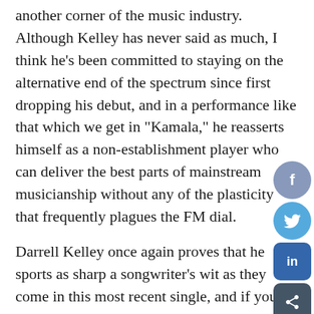another corner of the music industry. Although Kelley has never said as much, I think he's been committed to staying on the alternative end of the spectrum since first dropping his debut, and in a performance like that which we get in “Kamala,” he reasserts himself as a non-establishment player who can deliver the best parts of mainstream musicianship without any of the plasticity that frequently plagues the FM dial.

Darrell Kelley once again proves that he sports as sharp a songwriter’s wit as they come in this most recent single, and if you have the chance to give it a spin this January I think you’re going to be very pleased with what he’s produced. There wasn’t a lot